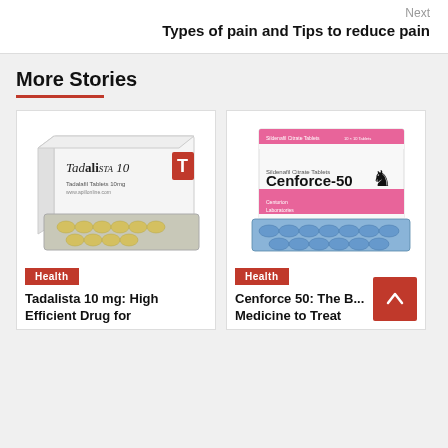Next
Types of pain and Tips to reduce pain
More Stories
[Figure (photo): Tadalista 10 mg tablet box with blister pack of yellow pills]
Health
Tadalista 10 mg: High Efficient Drug for
[Figure (photo): Cenforce-50 (Sildenafil Citrate Tablets) box with blister pack of blue pills]
Health
Cenforce 50: The B... Medicine to Treat